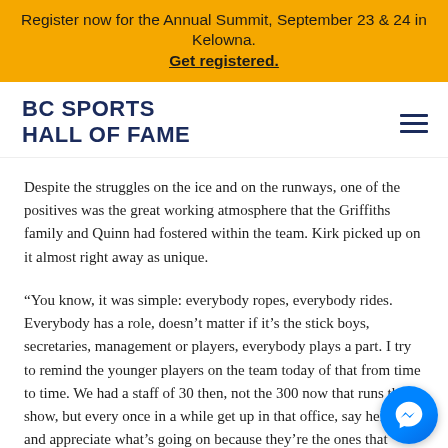Register now for the Annual Summit, September 23 & 24 in Kelowna. Get registered.
BC SPORTS HALL OF FAME
Despite the struggles on the ice and on the runways, one of the positives was the great working atmosphere that the Griffiths family and Quinn had fostered within the team. Kirk picked up on it almost right away as unique.
“You know, it was simple: everybody ropes, everybody rides. Everybody has a role, doesn’t matter if it’s the stick boys, secretaries, management or players, everybody plays a part. I try to remind the younger players on the team today of that from time to time. We had a staff of 30 then, not the 300 now that runs the show, but every once in a while get up in that office, say hello, and appreciate what’s going on because they’re the ones that arrange your mail for you, that do things that make it easy for you so